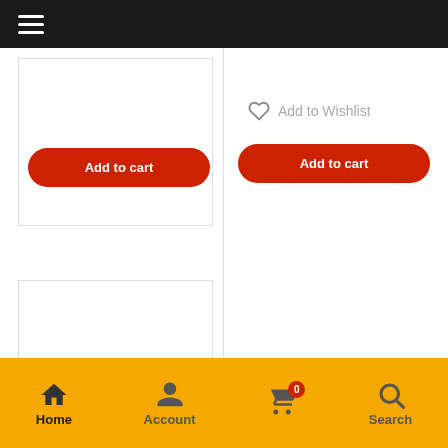[Figure (screenshot): Mobile e-commerce app screenshot showing top navigation bar with hamburger menu, two product card columns with Add to cart buttons and wishlist link, empty product cards below, and bottom navigation bar with Home, Account, Cart (badge 0), and Search icons on orange background]
Add to cart
Add to Wishlist
Add to cart
Home  Account  0  Search